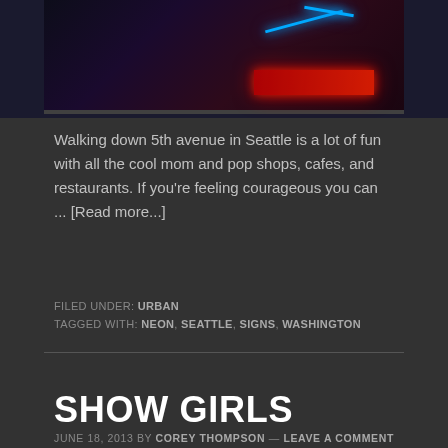[Figure (photo): Dark neon-lit scene with blue neon light shapes and red glow in the lower right, against a very dark background]
Walking down 5th avenue in Seattle is a lot of fun with all the cool mom and pop shops, cafes, and restaurants. If you're feeling courageous you can ... [Read more...]
FILED UNDER: URBAN
TAGGED WITH: NEON, SEATTLE, SIGNS, WASHINGTON
SHOW GIRLS
JUNE 18, 2013 BY COREY THOMPSON — LEAVE A COMMENT